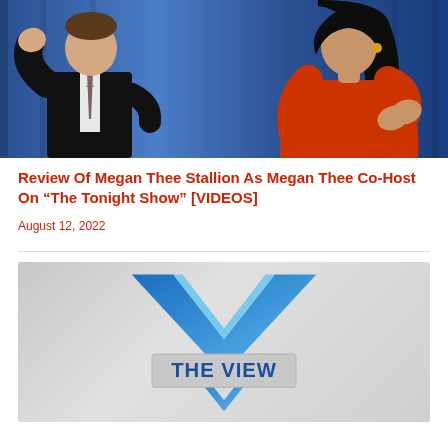[Figure (photo): Two people standing in front of blue curtains — a man in a black suit on the left gesturing with his hand, and a woman in a red outfit on the right with hands clasped together]
Review Of Megan Thee Stallion As Megan Thee Co-Host On “The Tonight Show” [VIDEOS]
August 12, 2022
[Figure (logo): The View TV show logo — a large blue V shape above the text THE VIEW on a gray background]